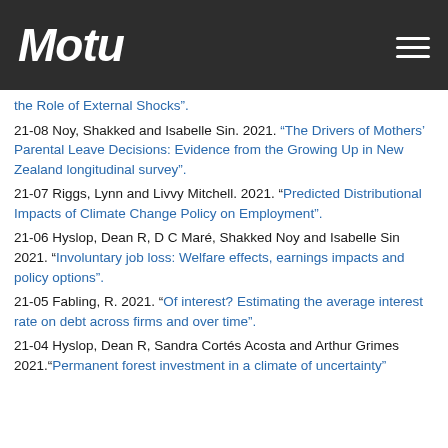Motu
the Role of External Shocks".
21-08 Noy, Shakked and Isabelle Sin. 2021. "The Drivers of Mothers' Parental Leave Decisions: Evidence from the Growing Up in New Zealand longitudinal survey".
21-07 Riggs, Lynn and Livvy Mitchell. 2021. "Predicted Distributional Impacts of Climate Change Policy on Employment".
21-06 Hyslop, Dean R, D C Maré, Shakked Noy and Isabelle Sin 2021. "Involuntary job loss: Welfare effects, earnings impacts and policy options".
21-05 Fabling, R. 2021. "Of interest? Estimating the average interest rate on debt across firms and over time".
21-04 Hyslop, Dean R, Sandra Cortés Acosta and Arthur Grimes 2021."Permanent forest investment in a climate of uncertainty"